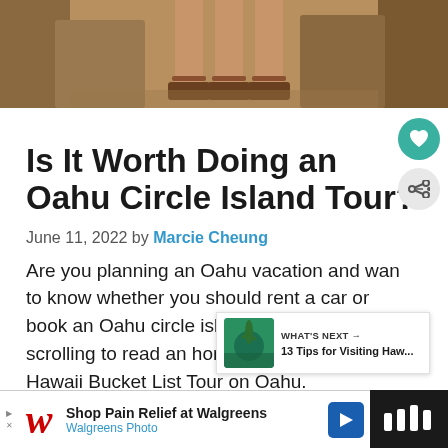[Figure (photo): Top portion of a photo showing two people's legs and sandaled feet standing on rocky terrain, cropped at the top of the page.]
Is It Worth Doing an Oahu Circle Island Tour?
June 11, 2022 by Marcie Cheung
Are you planning an Oahu vacation and want to know whether you should rent a car or book an Oahu circle island tour? Keep scrolling to read an honest review of the Hawaii Bucket List Tour on Oahu.
[Figure (photo): What's Next thumbnail - tropical beach scene with palm tree, small overlay card showing '13 Tips for Visiting Haw...']
[Figure (other): Walgreens advertisement banner: 'Shop Pain Relief at Walgreens / Walgreens Photo' with Walgreens logo and blue navigation icon]